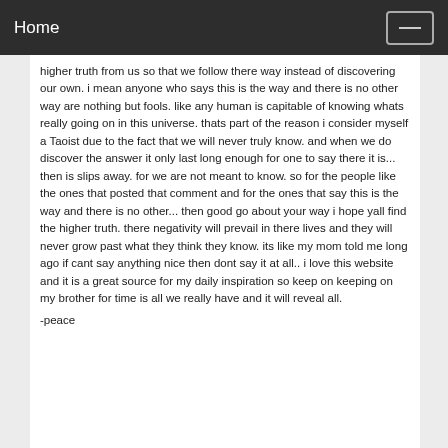Home
higher truth from us so that we follow there way instead of discovering our own. i mean anyone who says this is the way and there is no other way are nothing but fools. like any human is capitable of knowing whats really going on in this universe. thats part of the reason i consider myself a Taoist due to the fact that we will never truly know. and when we do discover the answer it only last long enough for one to say there it is... then is slips away. for we are not meant to know. so for the people like the ones that posted that comment and for the ones that say this is the way and there is no other... then good go about your way i hope yall find the higher truth. there negativity will prevail in there lives and they will never grow past what they think they know. its like my mom told me long ago if cant say anything nice then dont say it at all.. i love this website and it is a great source for my daily inspiration so keep on keeping on my brother for time is all we really have and it will reveal all.
-peace